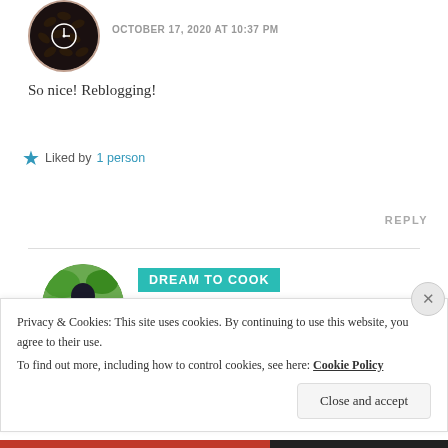[Figure (photo): Circular avatar with coffee beans or dark texture and clock icon, with reddish-brown border]
OCTOBER 17, 2020 AT 10:37 PM
So nice! Reblogging!
★ Liked by 1 person
REPLY
[Figure (photo): Circular avatar showing a woman with dark hair in front of green foliage]
DREAM TO COOK
OCTOBER 18, 2020 AT 11:46 AM
Privacy & Cookies: This site uses cookies. By continuing to use this website, you agree to their use.
To find out more, including how to control cookies, see here: Cookie Policy
Close and accept